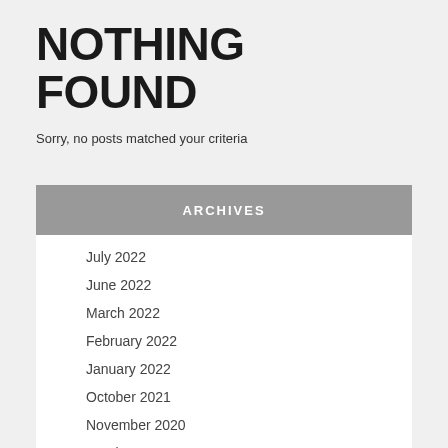NOTHING FOUND
Sorry, no posts matched your criteria
ARCHIVES
July 2022
June 2022
March 2022
February 2022
January 2022
October 2021
November 2020
October 2020